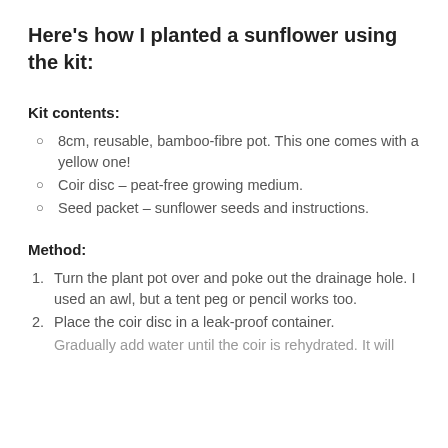Here's how I planted a sunflower using the kit:
Kit contents:
8cm, reusable, bamboo-fibre pot. This one comes with a yellow one!
Coir disc – peat-free growing medium.
Seed packet – sunflower seeds and instructions.
Method:
Turn the plant pot over and poke out the drainage hole. I used an awl, but a tent peg or pencil works too.
Place the coir disc in a leak-proof container.
Gradually add water until the coir is rehydrated. It will